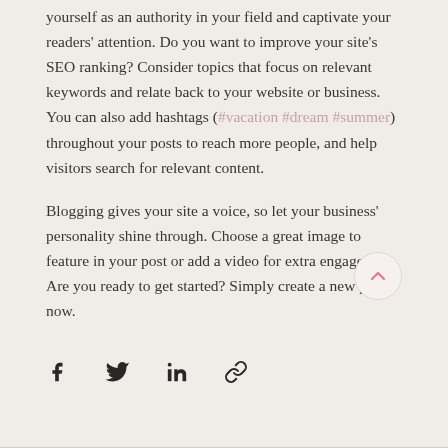yourself as an authority in your field and captivate your readers' attention. Do you want to improve your site's SEO ranking? Consider topics that focus on relevant keywords and relate back to your website or business. You can also add hashtags (#vacation #dream #summer) throughout your posts to reach more people, and help visitors search for relevant content.

Blogging gives your site a voice, so let your business' personality shine through. Choose a great image to feature in your post or add a video for extra engagement. Are you ready to get started? Simply create a new post now.
[Figure (other): Social share icons: Facebook, Twitter, LinkedIn, and a link/chain icon]